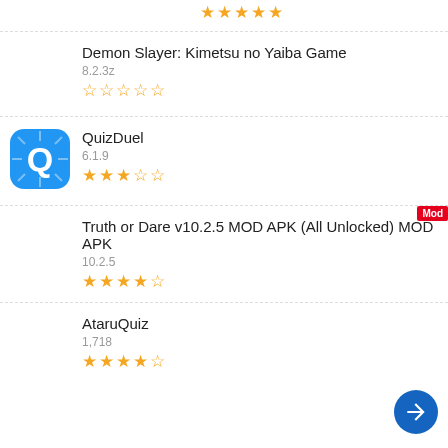5 (partial, stars only)
Demon Slayer: Kimetsu no Yaiba Game, 8.2.3z, 0 stars
QuizDuel, 6.1.9, 3.5 stars
Truth or Dare v10.2.5 MOD APK (All Unlocked) MOD APK, 10.2.5, 4.5 stars, Mod badge
AtaruQuiz, 1,718, 4.5 stars